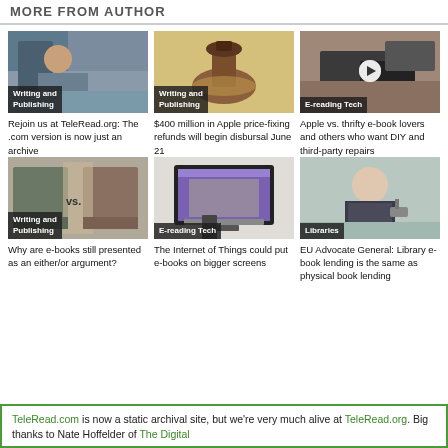MORE FROM AUTHOR
[Figure (photo): Man sitting at desk with bookshelves behind him]
Writing and Publishing
Rejoin us at TeleRead.org: The .com version is now just an archive
[Figure (photo): Wooden gavel on yellow background]
Writing and Publishing
$400 million in Apple price-fixing refunds will begin disbursal June 21
[Figure (photo): Hands using tablet and phone on desk, with play button overlay]
E-reading Tech
Apple vs. thrifty e-book lovers and others who want DIY and third-party repairs
[Figure (photo): Two books side by side with vs. text overlay]
Writing and Publishing
Why are e-books still presented as an either/or argument?
[Figure (photo): Computer monitor and phone on desk]
E-reading Tech
The Internet of Things could put e-books on bigger screens
[Figure (photo): Man in suit speaking at microphone]
Libraries
EU Advocate General: Library e-book lending is the same as physical book lending
TeleRead.com is now a static archival site, but we're very much alive at TeleRead.org. Big thanks to Nate Hoffelder of The Digital...